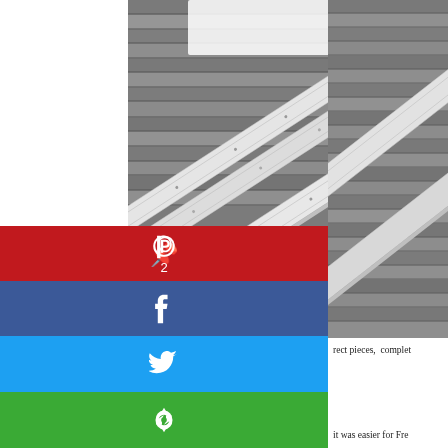[Figure (photo): Overhead view of a wooden deck with gray weathered boards. Two or three white aluminum ramp/threshold pieces are laid diagonally across the deck surface. A white piece of outdoor furniture (chair) is partially visible at the top.]
[Figure (infographic): Social share button bar with four buttons stacked vertically: Pinterest (red, showing Pinterest 'P' icon and count '2'), Facebook (dark blue, showing 'f' icon), Twitter (light blue, showing bird icon), and a recycling/share icon button (green).]
rect pieces,  complet
it was easier for Fre